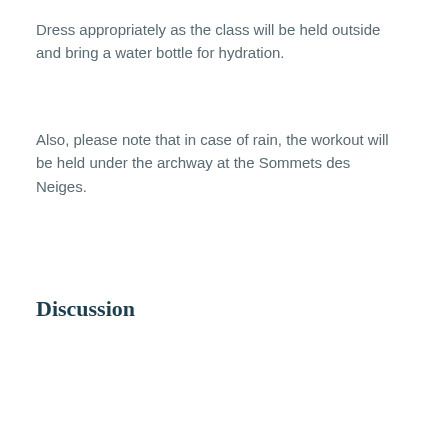Dress appropriately as the class will be held outside and bring a water bottle for hydration.
Also, please note that in case of rain, the workout will be held under the archway at the Sommets des Neiges.
Discussion